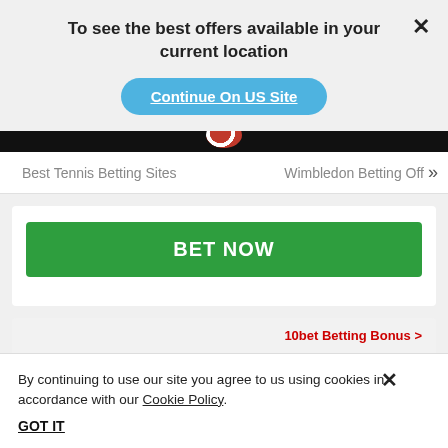To see the best offers available in your current location
Continue On US Site
Best Tennis Betting Sites
Wimbledon Betting Off
BET NOW
10bet Betting Bonus >
ne Bonus up
By continuing to use our site you agree to us using cookies in accordance with our Cookie Policy.
GOT IT
BET NOW